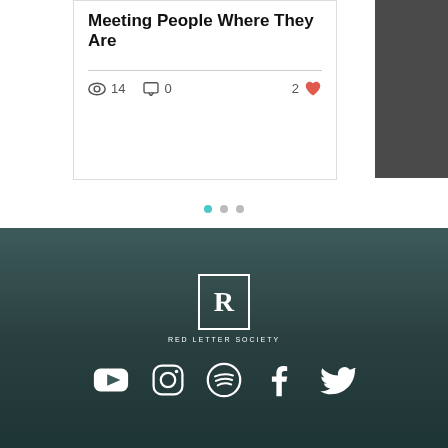Meeting People Where They Are
14 views  0 comments  2 likes
[Figure (other): Pagination dots: one teal active dot and two grey inactive dots]
[Figure (logo): Red Letter Society logo: R in a square box with text RED LETTER SOCIETY below]
[Figure (other): Social media icons row: YouTube, Instagram, Spotify, Facebook, Twitter in white on dark teal background]